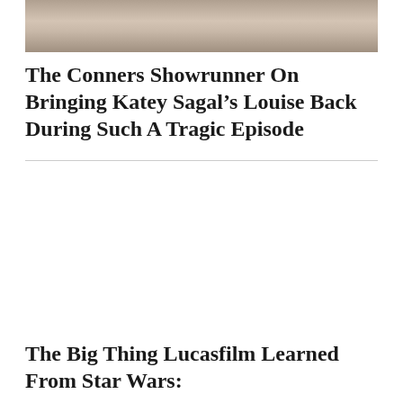[Figure (photo): Partial photo strip at the top of the page, showing what appears to be a person in a dark outfit against a light background]
The Conners Showrunner On Bringing Katey Sagal’s Louise Back During Such A Tragic Episode
The Big Thing Lucasfilm Learned From Star Wars: